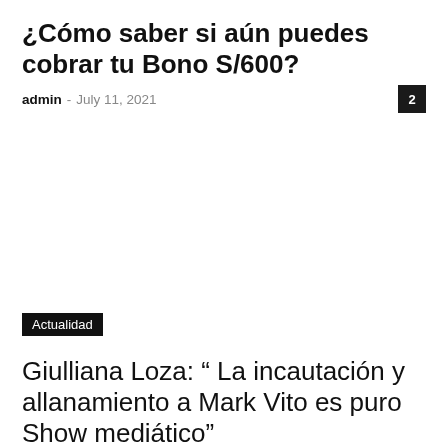¿Cómo saber si aún puedes cobrar tu Bono S/600?
admin · July 11, 2021
2
Actualidad
Giulliana Loza: “ La incautación y allanamiento a Mark Vito es puro Show mediático”
admin · July 10, 2021
0